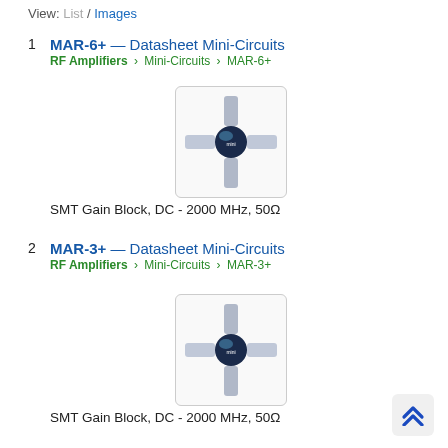View: List / Images
1  MAR-6+ — Datasheet Mini-Circuits
RF Amplifiers > Mini-Circuits > MAR-6+
SMT Gain Block, DC - 2000 MHz, 50Ω
[Figure (photo): SMT RF amplifier IC component (MAR-6+) with cross-shaped leads on a white background with rounded-corner border]
2  MAR-3+ — Datasheet Mini-Circuits
RF Amplifiers > Mini-Circuits > MAR-3+
SMT Gain Block, DC - 2000 MHz, 50Ω
[Figure (photo): SMT RF amplifier IC component (MAR-3+) with cross-shaped leads on a white background with rounded-corner border]